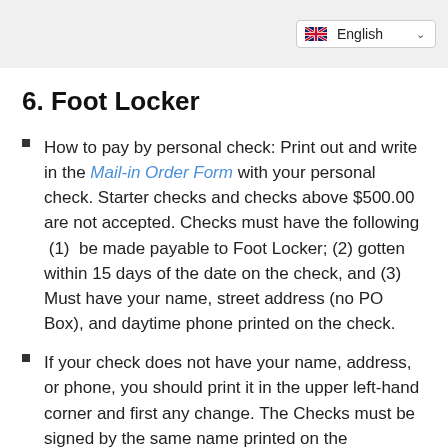English
6. Foot Locker
How to pay by personal check: Print out and write in the Mail-in Order Form with your personal check. Starter checks and checks above $500.00 are not accepted. Checks must have the following (1) be made payable to Foot Locker; (2) gotten within 15 days of the date on the check, and (3) Must have your name, street address (no PO Box), and daytime phone printed on the check.
If your check does not have your name, address, or phone, you should print it in the upper left-hand corner and first any change. The Checks must be signed by the same name printed on the